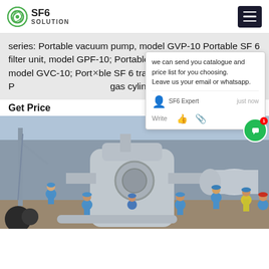SF6 SOLUTION
series: Portable vacuum pump, model GVP-10 Portable SF 6 filter unit, model GPF-10; Portable SF 6 vacuum compressor, model GVC-10; Portable SF 6 transfer unit, model GTU-10; P... gas cylinder scale, model
Get Price
[Figure (photo): Industrial site showing workers in blue coveralls and hard hats around large grey SF6 gas handling equipment, outdoor industrial setting with cranes and pipework in background.]